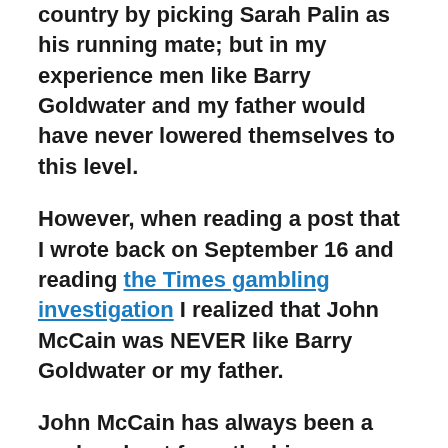country by picking Sarah Palin as his running mate; but in my experience men like Barry Goldwater and my father would have never lowered themselves to this level.
However, when reading a post that I wrote back on September 16 and reading the Times gambling investigation I realized that John McCain was NEVER like Barry Goldwater or my father.
John McCain has always been a cocky, shoot from the hip, gambling, womanizing, self-centered, power-hungry Republican.
Today the papers are full of the stories about John McCain's history of gambling (up to 14 hours a day at times) and his history of working with the casino lobbyists.   Here are a couple of quotes from one of the